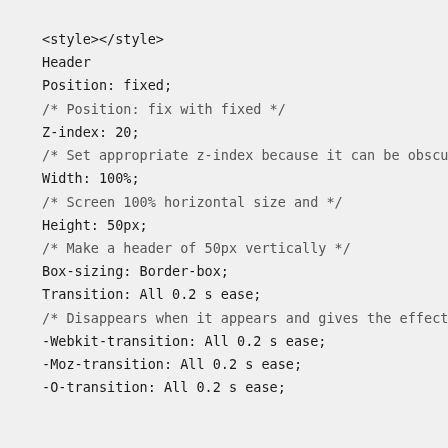<style></style>
Header
Position: fixed;
/* Position: fix with fixed */
Z-index: 20;
/* Set appropriate z-index because it can be obscured b
Width: 100%;
/* Screen 100% horizontal size and */
Height: 50px;
/* Make a header of 50px vertically */
Box-sizing: Border-box;
Transition: All 0.2 s ease;
/* Disappears when it appears and gives the effect that
-Webkit-transition: All 0.2 s ease;
-Moz-transition: All 0.2 s ease;
-O-transition: All 0.2 s ease;